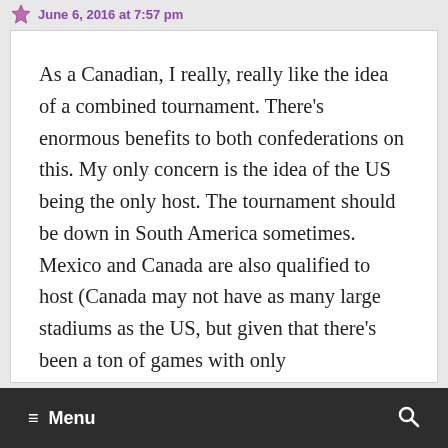June 6, 2016 at 7:57 pm
As a Canadian, I really, really like the idea of a combined tournament. There's enormous benefits to both confederations on this. My only concern is the idea of the US being the only host. The tournament should be down in South America sometimes. Mexico and Canada are also qualified to host (Canada may not have as many large stadiums as the US, but given that there's been a ton of games with only
≡ Menu 🔍